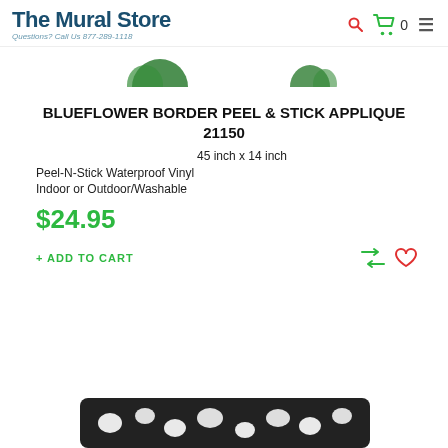The Mural Store — Questions? Call Us 877-289-1118
[Figure (photo): Partial product image visible at top of page showing decorative border applique with green leaf motifs]
BLUEFLOWER BORDER PEEL & STICK APPLIQUE 21150
45 inch x 14 inch
Peel-N-Stick Waterproof Vinyl
Indoor or Outdoor/Washable
$24.95
+ ADD TO CART
[Figure (photo): Bottom portion of product image showing black and white floral/leaf patterned border applique]